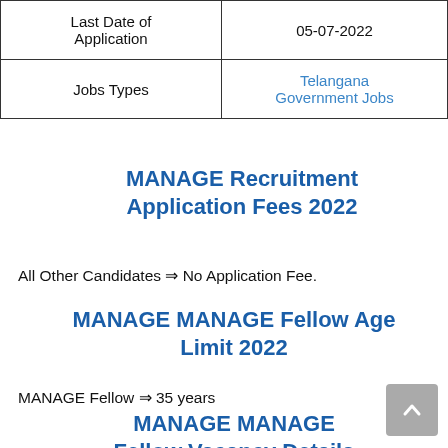| Last Date of Application | 05-07-2022 |
| Jobs Types | Telangana Government Jobs |
MANAGE Recruitment Application Fees 2022
All Other Candidates ⇒ No Application Fee.
MANAGE MANAGE Fellow Age Limit 2022
MANAGE Fellow ⇒ 35 years
MANAGE MANAGE Fellow Vacancy Details